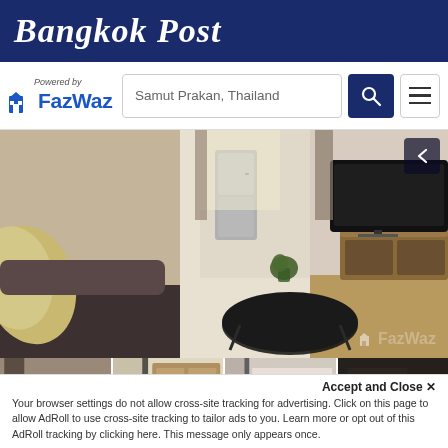Bangkok Post
[Figure (logo): FazWaz logo with 'Powered by' text above and a search box showing 'Samut Prakan, Thailand', a search button, and a hamburger menu button]
[Figure (photo): Interior photo of a modern apartment living room with dark sofa in foreground, round black coffee table, wooden TV console with large flat-screen TV, open-plan kitchen with refrigerator in background, with FazWaz watermark]
[Figure (photo): Four thumbnail photos of apartment interior views: bedroom, kitchen/storage area, bathroom/interior, and a dark partially visible room with 'See All' overlay]
1 Bed
Accept and Close ×
Your browser settings do not allow cross-site tracking for advertising. Click on this page to allow AdRoll to use cross-site tracking to tailor ads to you. Learn more or opt out of this AdRoll tracking by clicking here. This message only appears once.